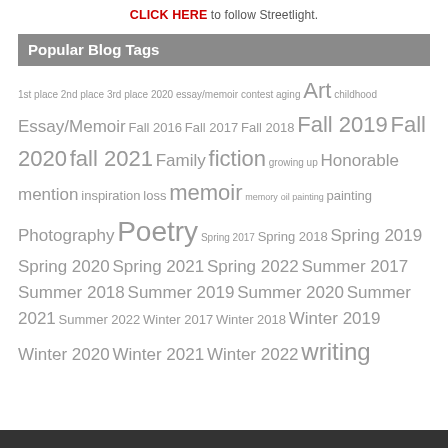CLICK HERE to follow Streetlight.
Popular Blog Tags
1st place 2nd place 3rd place 2020 essay/memoir contest aging Art childhood Essay/Memoir Fall 2016 Fall 2017 Fall 2018 Fall 2019 Fall 2020 fall 2021 Family fiction growing up Honorable mention inspiration loss memoir memory oil painting painting Photography Poetry Spring 2017 Spring 2018 Spring 2019 Spring 2020 Spring 2021 Spring 2022 Summer 2017 Summer 2018 Summer 2019 Summer 2020 Summer 2021 Summer 2022 Winter 2017 Winter 2018 Winter 2019 Winter 2020 Winter 2021 Winter 2022 writing